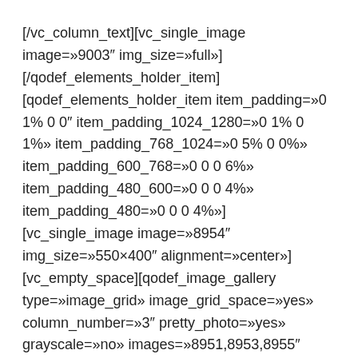[/vc_column_text][vc_single_image image=»9003″ img_size=»full»][/qodef_elements_holder_item][qodef_elements_holder_item item_padding=»0 1% 0 0″ item_padding_1024_1280=»0 1% 0 1%» item_padding_768_1024=»0 5% 0 0%» item_padding_600_768=»0 0 0 6%» item_padding_480_600=»0 0 0 4%» item_padding_480=»0 0 0 4%»][vc_single_image image=»8954″ img_size=»550×400″ alignment=»center»][vc_empty_space][qodef_image_gallery type=»image_grid» image_grid_space=»yes» column_number=»3″ pretty_photo=»yes» grayscale=»no» images=»8951,8953,8955″ image_size=»thumbnail»][/qodef_elements_holder_item][/qodef_elements_holder][/vc_column][/vc_row][vc_row][vc_column][vc_empty_space][/vc_column][/vc_row][vc_row][vc_column][vc_text_separator title=»Dale a tu